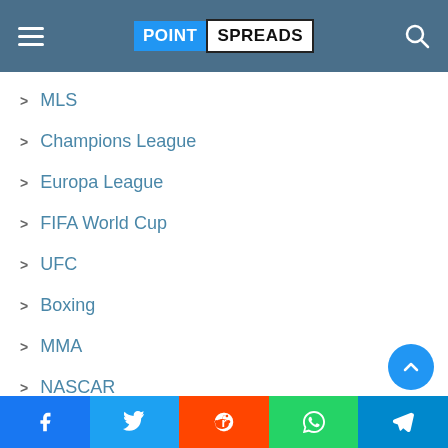POINT SPREADS
MLS
Champions League
Europa League
FIFA World Cup
UFC
Boxing
MMA
NASCAR
F1
WRC
IndyCar
Facebook Twitter Reddit WhatsApp Telegram